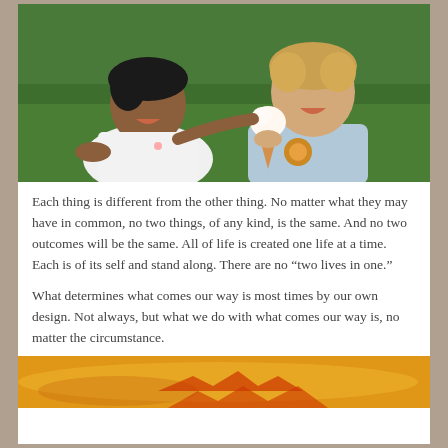[Figure (photo): Two young children sharing an ice cream cone outdoors on grass. One child wearing white jacket, one wearing light blue shirt with lion design.]
Each thing is different from the other thing. No matter what they may have in common, no two things, of any kind, is the same. And no two outcomes will be the same. All of life is created one life at a time. Each is of its self and stand along. There are no “two lives in one.”
What determines what comes our way is most times by our own design. Not always, but what we do with what comes our way is, no matter the circumstance.
[Figure (photo): Partial view of a golden/orange background image, possibly hands or abstract design.]